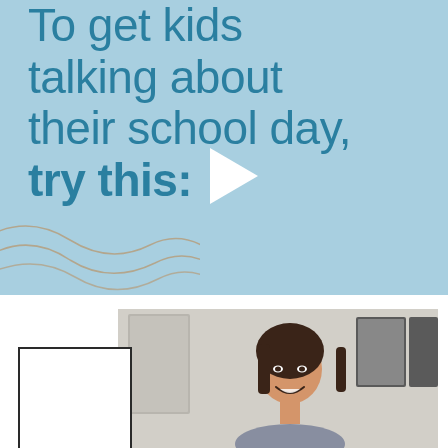To get kids talking about their school day, try this:
[Figure (photo): A smiling woman with dark hair in a kitchen/home setting, partially visible. A white rectangular card/box overlay appears in the bottom-left corner of the lower section.]